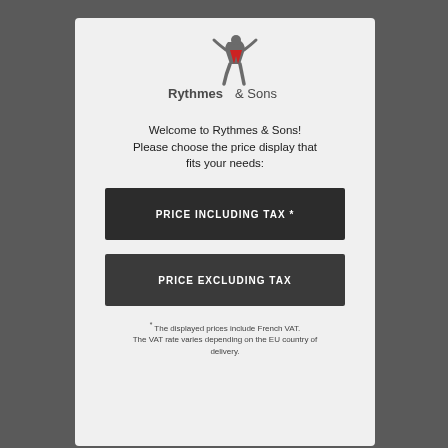[Figure (logo): Rythmes & Sons logo with stylized figure and red accent]
Welcome to Rythmes & Sons! Please choose the price display that fits your needs:
PRICE INCLUDING TAX *
PRICE EXCLUDING TAX
* The displayed prices include French VAT. The VAT rate varies depending on the EU country of delivery.